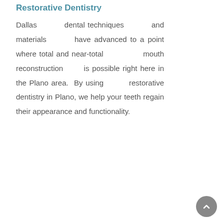Restorative Dentistry
Dallas dental techniques and materials have advanced to a point where total and near-total mouth reconstruction is possible right here in the Plano area. By using restorative dentistry in Plano, we help your teeth regain their appearance and functionality.